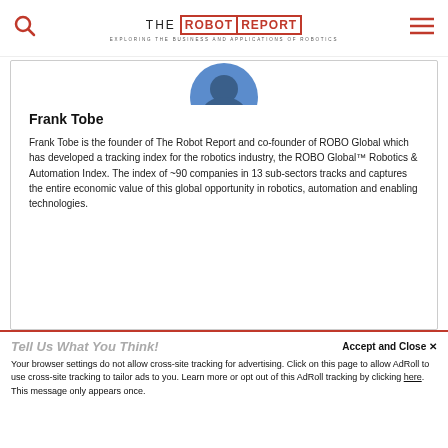THE ROBOT REPORT — EXPLORING THE BUSINESS AND APPLICATIONS OF ROBOTICS
[Figure (photo): Circular profile photo of Frank Tobe, partially visible at top of author card]
Frank Tobe
Frank Tobe is the founder of The Robot Report and co-founder of ROBO Global which has developed a tracking index for the robotics industry, the ROBO Global™ Robotics & Automation Index. The index of ~90 companies in 13 sub-sectors tracks and captures the entire economic value of this global opportunity in robotics, automation and enabling technologies.
Tell Us What You Think!
Accept and Close ✕
Your browser settings do not allow cross-site tracking for advertising. Click on this page to allow AdRoll to use cross-site tracking to tailor ads to you. Learn more or opt out of this AdRoll tracking by clicking here. This message only appears once.